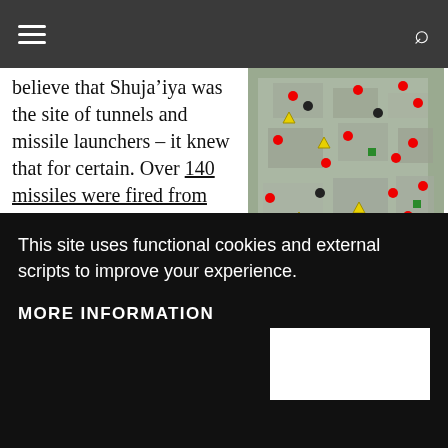believe that Shuja’iya was the site of tunnels and missile launchers – it knew that for certain. Over 140 missiles were fired from
[Figure (map): Military map showing IDF targeted sites in Shuja'iya including rocket fire locations, rocket launchers, terrorist houses, tunnels, hideouts, combat posts, weapons caches, and anti-tank missile fire. Caption: THE IDF HAS TARGETED MOST OF THESE SITES.]
This site uses functional cookies and external scripts to improve your experience.
MORE INFORMATION
forces had to act there.